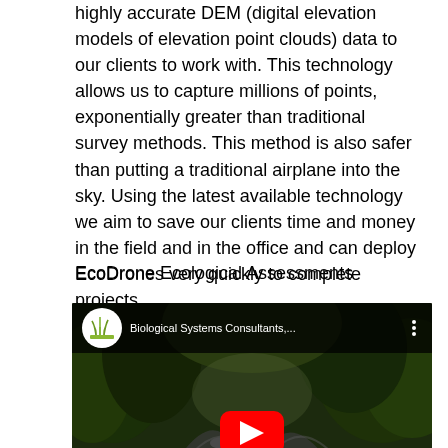highly accurate DEM (digital elevation models of elevation point clouds) data to our clients to work with. This technology allows us to capture millions of points, exponentially greater than traditional survey methods. This method is also safer than putting a traditional airplane into the sky. Using the latest available technology we aim to save our clients time and money in the field and in the office and can deploy EcoDrones very quickly to complete projects.
EcoDrone Ecological Assessments
[Figure (screenshot): YouTube video embed showing a creek/stream through lush green forest vegetation. Top bar shows channel icon with grass/plant logo and text 'Biological Systems Consultants,...' with three-dot menu. YouTube play button visible at bottom center.]